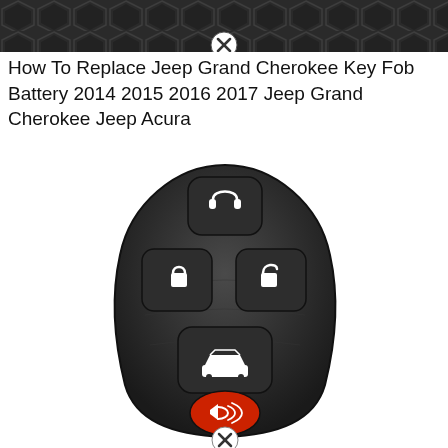[Figure (photo): Dark textured background with honeycomb pattern at top, with a circular X/close button icon in the center top area]
How To Replace Jeep Grand Cherokee Key Fob Battery 2014 2015 2016 2017 Jeep Grand Cherokee Jeep Acura
[Figure (photo): A black car key fob remote with 5 buttons: a remote start button (headphones icon) at top, lock and unlock buttons in the middle row, a trunk/car button below, and a red panic button at the bottom. Also has a circular X/close button at the very bottom.]